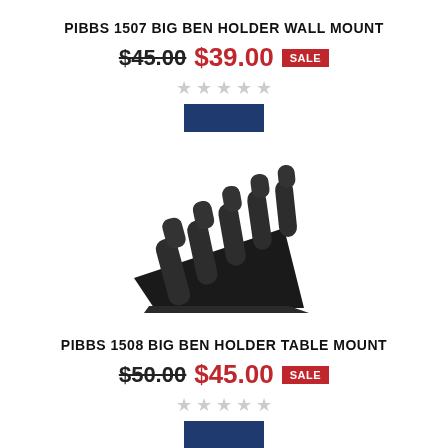PIBBS 1507 BIG BEN HOLDER WALL MOUNT
$45.00 $39.00 SALE
[Figure (other): Five empty star rating icons in gray]
[Figure (other): Dark navy blue rectangular button]
[Figure (photo): Black multi-slot holder stand with angled triangular base, table mount product photo]
PIBBS 1508 BIG BEN HOLDER TABLE MOUNT
$50.00 $45.00 SALE
[Figure (other): Five empty star rating icons in gray]
[Figure (other): Dark navy blue rectangular button (partially visible)]